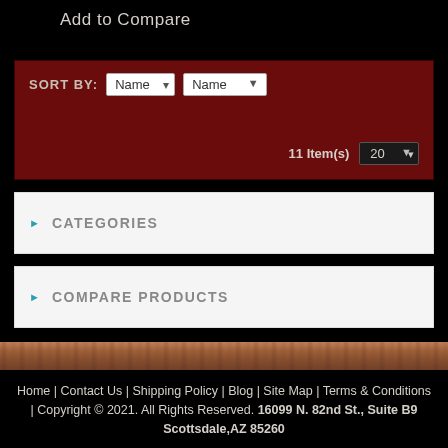Add to Compare
SORT BY: Name ▾  11 Item(s)  20 ▾
▸ CATEGORIES
▸ COMPARE PRODUCTS
Home | Contact Us | Shipping Policy | Blog | Site Map | Terms & Conditions | Copyright © 2021. All Rights Reserved. 16099 N. 82nd St., Suite B9 Scottsdale,AZ 85260
7330 E. Main Street, Suite 105 • Scottsdale, AZ 85251
© 2007 - 2020 suvinowineryaz.com . All Rights Reserved.